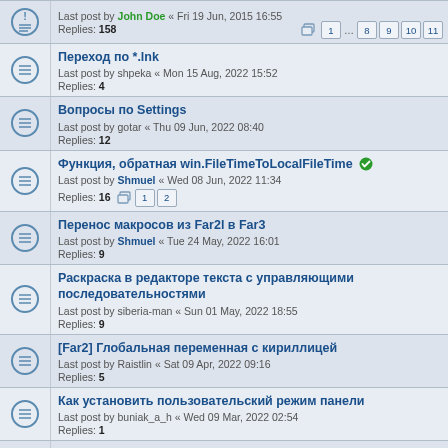Last post by John Doe « Fri 19 Jun, 2015 16:55
Replies: 158
Pages: 1 ... 8 9 10 11
Переход по *.lnk
Last post by shpeka « Mon 15 Aug, 2022 15:52
Replies: 4
Вопросы по Settings
Last post by gotar « Thu 09 Jun, 2022 08:40
Replies: 12
Функция, обратная win.FileTimeToLocalFileTime ✓
Last post by Shmuel « Wed 08 Jun, 2022 11:34
Replies: 16
Pages: 1 2
Перенос макросов из Far2l в Far3
Last post by Shmuel « Tue 24 May, 2022 16:01
Replies: 9
Раскраска в редакторе текста с управляющими последовательностями
Last post by siberia-man « Sun 01 May, 2022 18:55
Replies: 9
[Far2] Глобальная переменная с кириллицей
Last post by Raistlin « Sat 09 Apr, 2022 09:16
Replies: 5
Как установить пользовательский режим панели
Last post by buniak_a_h « Wed 09 Mar, 2022 02:54
Replies: 1
FilePath в export.GetContentData ✓
Last post by Shmuel « Tue 08 Mar, 2022 17:05
Replies: 4